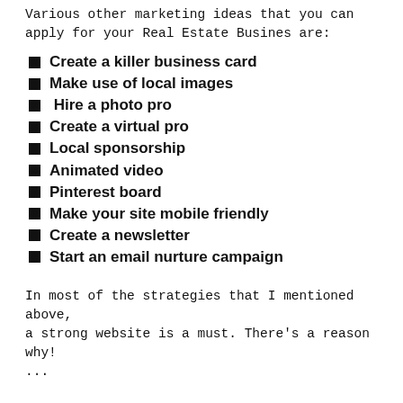Various other marketing ideas that you can apply for your Real Estate Busines are:
Create a killer business card
Make use of local images
Hire a photo pro
Create a virtual pro
Local sponsorship
Animated video
Pinterest board
Make your site mobile friendly
Create a newsletter
Start an email nurture campaign
In most of the strategies that I mentioned above, a strong website is a must. There's a reason why! ...